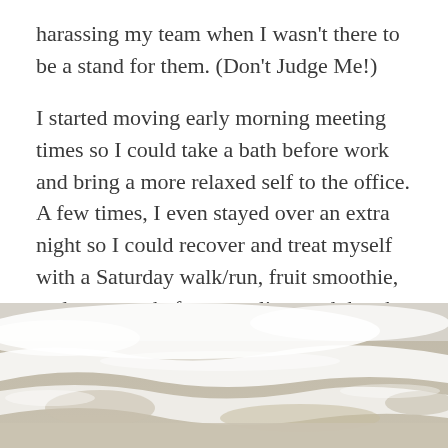harassing my team when I wasn't there to be a stand for them. (Don't Judge Me!)
I started moving early morning meeting times so I could take a bath before work and bring a more relaxed self to the office. A few times, I even stayed over an extra night so I could recover and treat myself with a Saturday walk/run, fruit smoothie, and massage before traveling, and thereby bring a more relaxed self to my family.
[Figure (photo): Aerial or close-up view of ocean waves washing up on a sandy beach, showing white sea foam and wet sand in light tan and beige tones.]